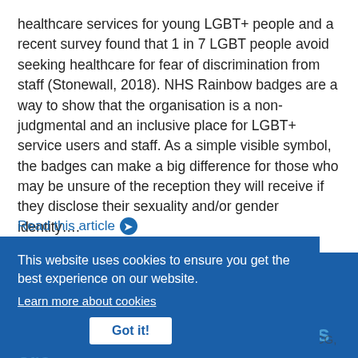healthcare services for young LGBT+ people and a recent survey found that 1 in 7 LGBT people avoid seeking healthcare for fear of discrimination from staff (Stonewall, 2018). NHS Rainbow badges are a way to show that the organisation is a non-judgmental and an inclusive place for LGBT+ service users and staff. As a simple visible symbol, the badges can make a big difference for those who may be unsure of the reception they will receive if they disclose their sexuality and/or gender identity….
Read this article ❯
Popping up across Leeds - taking the library to where the users are
Friday, November 29, 2019
This website uses cookies to ensure you get the best experience on our website.
Learn more about cookies
Got it!
As a library serving a community care trust, the Leeds CCG,